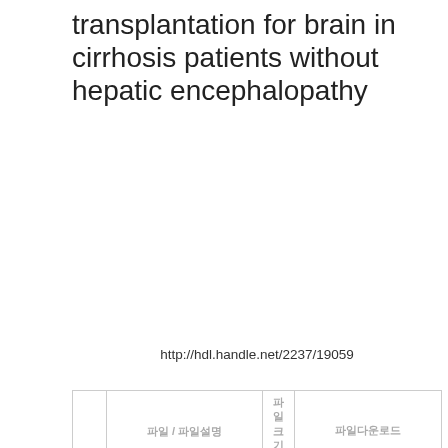transplantation for brain in cirrhosis patients without hepatic encephalopathy
http://hdl.handle.net/2237/19059
|  | 파일 / 파일설명 | 파일크기 | 파일다운로드 |
| --- | --- | --- | --- |
| ☐ | 📄 k10342_review.pdf (429.6 kB) |  | Download | Information |
| ☐ | 📄 k10342_publication_list.pdf (111.8 kB) |  | Download | Information |